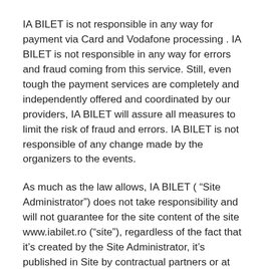IA BILET is not responsible in any way for payment via Card and Vodafone processing . IA BILET is not responsible in any way for errors and fraud coming from this service. Still, even tough the payment services are completely and independently offered and coordinated by our providers, IA BILET will assure all measures to limit the risk of fraud and errors. IA BILET is not responsible of any change made by the organizers to the events.
As much as the law allows, IA BILET ( “Site Administrator”) does not take responsibility and will not guarantee for the site content of the site www.iabilet.ro (“site”), regardless of the fact that it’s created by the Site Administrator, it’s published in Site by contractual partners or at their request or it’s offered by the event organizers to be published on the Site (“Site Content”). The Site Administrator will make all the reasonable efforts to assure accuracy and reliability in the Site and will try to correct errors and omissions as soon as possible. As much as the law allows, the Site Administrator will not offer any guarantee and will not take responsibility for the Site Content and as much as the law allows, he cannot be held responsible for any loss or prejudice that could result from using any part or module of the Site Content or for the impossibility of usage, regardless of the